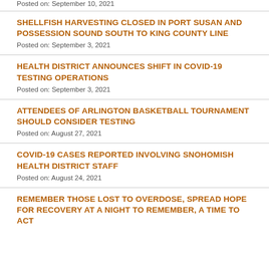Posted on: September 10, 2021
SHELLFISH HARVESTING CLOSED IN PORT SUSAN AND POSSESSION SOUND SOUTH TO KING COUNTY LINE
Posted on: September 3, 2021
HEALTH DISTRICT ANNOUNCES SHIFT IN COVID-19 TESTING OPERATIONS
Posted on: September 3, 2021
ATTENDEES OF ARLINGTON BASKETBALL TOURNAMENT SHOULD CONSIDER TESTING
Posted on: August 27, 2021
COVID-19 CASES REPORTED INVOLVING SNOHOMISH HEALTH DISTRICT STAFF
Posted on: August 24, 2021
REMEMBER THOSE LOST TO OVERDOSE, SPREAD HOPE FOR RECOVERY AT A NIGHT TO REMEMBER, A TIME TO ACT